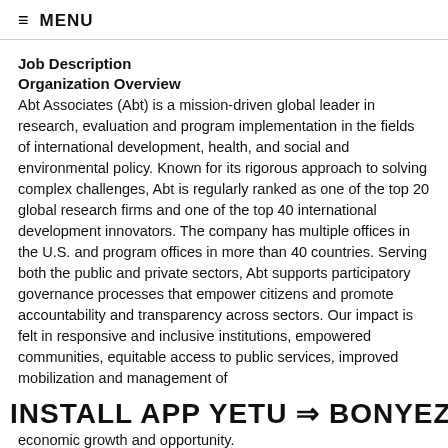≡ MENU
Job Description
Organization Overview
Abt Associates (Abt) is a mission-driven global leader in research, evaluation and program implementation in the fields of international development, health, and social and environmental policy. Known for its rigorous approach to solving complex challenges, Abt is regularly ranked as one of the top 20 global research firms and one of the top 40 international development innovators. The company has multiple offices in the U.S. and program offices in more than 40 countries. Serving both the public and private sectors, Abt supports participatory governance processes that empower citizens and promote accountability and transparency across sectors. Our impact is felt in responsive and inclusive institutions, empowered communities, equitable access to public services, improved mobilization and management of
[Figure (infographic): Banner advertisement: INSTALL APP YETU ➔ BONYEZA HAPA in large bold black text]
economic growth and opportunity.